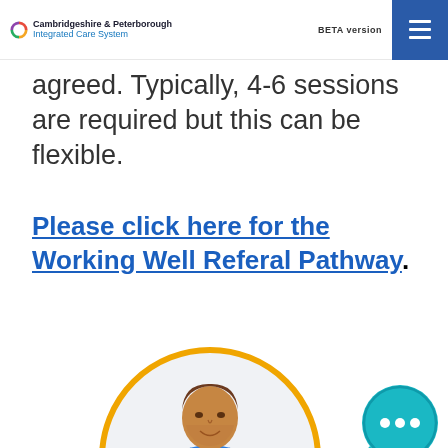Cambridgeshire & Peterborough Integrated Care System | BETA version
agreed. Typically, 4-6 sessions are required but this can be flexible.
Please click here for the Working Well Referal Pathway.
[Figure (illustration): Illustration of a male healthcare worker in blue scrubs inside a circular frame with an orange border and grey background. A teal speech bubble icon appears in the bottom right corner.]